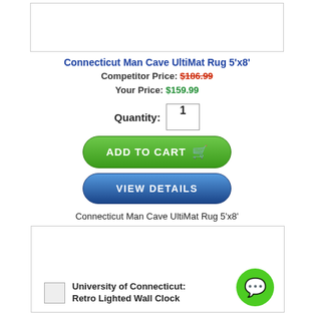[Figure (other): Product image placeholder box for Connecticut Man Cave UltiMat Rug 5'x8']
Connecticut Man Cave UltiMat Rug 5'x8'
Competitor Price: $186.99
Your Price: $159.99
Quantity: 1
ADD TO CART
VIEW DETAILS
Connecticut Man Cave UltiMat Rug 5'x8'
[Figure (other): Second product image box with University of Connecticut: Retro Lighted Wall Clock and chat bubble icon]